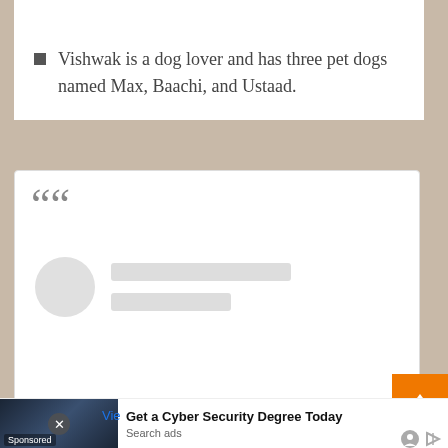Vishwak is a dog lover and has three pet dogs named Max, Baachi, and Ustaad.
[Figure (screenshot): A social media embed block with a large open quote mark at the top left, and a loading placeholder showing a grey circle avatar and two grey loading lines below it.]
[Figure (screenshot): An advertisement banner at the bottom of the page: photo of a person in a server room, close button, 'Sponsored' label, title 'Get a Cyber Security Degree Today', 'Search ads' text, and ad attribution icons. Partially visible 'Vie' link in blue on the left.]